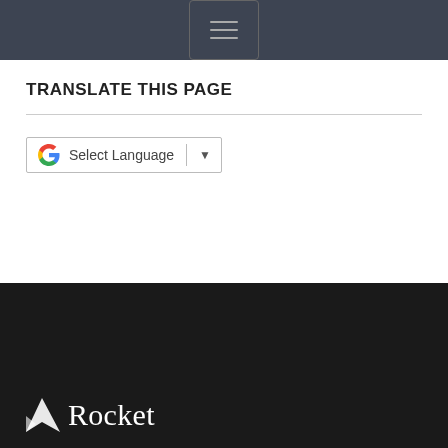[Navigation menu toggle button]
TRANSLATE THIS PAGE
[Figure (other): Google Translate widget with G logo, 'Select Language' text, vertical divider, and dropdown arrow]
Rocket [logo and brand name in footer]